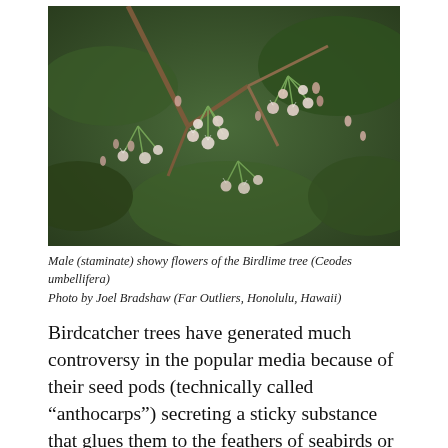[Figure (photo): Close-up photograph of male (staminate) showy flowers of the Birdlime tree (Ceodes umbellifera), showing small pink-white clustered blossoms and buds on green stems against dark foliage.]
Male (staminate) showy flowers of the Birdlime tree (Ceodes umbellifera)
Photo by Joel Bradshaw (Far Outliers, Honolulu, Hawaii)
Birdcatcher trees have generated much controversy in the popular media because of their seed pods (technically called “anthocarps”) secreting a sticky substance that glues them to the feathers of seabirds or other animals for dispersal. Sometimes